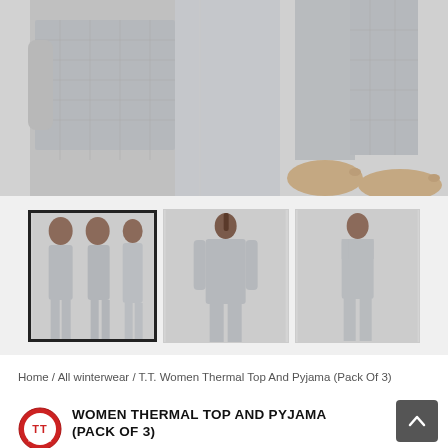[Figure (photo): Main product photo showing women wearing grey thermal top and pyjama set, multiple poses showing front and side views, close-up of legs/feet]
[Figure (photo): Thumbnail 1 (selected): Three women in grey thermal wear - long sleeve top, sleeveless top, and pyjama]
[Figure (photo): Thumbnail 2: Woman showing back of grey long-sleeve thermal top]
[Figure (photo): Thumbnail 3: Woman wearing grey sleeveless thermal top]
Home / All winterwear / T.T. Women Thermal Top And Pyjama (Pack Of 3)
[Figure (logo): TT Garments brand logo - red circular logo with TT text]
WOMEN THERMAL TOP AND PYJAMA (PACK OF 3)